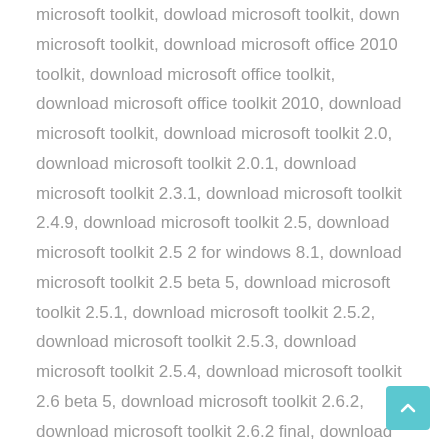microsoft toolkit, dowload microsoft toolkit, down microsoft toolkit, download microsoft office 2010 toolkit, download microsoft office toolkit, download microsoft office toolkit 2010, download microsoft toolkit, download microsoft toolkit 2.0, download microsoft toolkit 2.0.1, download microsoft toolkit 2.3.1, download microsoft toolkit 2.4.9, download microsoft toolkit 2.5, download microsoft toolkit 2.5 2 for windows 8.1, download microsoft toolkit 2.5 beta 5, download microsoft toolkit 2.5.1, download microsoft toolkit 2.5.2, download microsoft toolkit 2.5.3, download microsoft toolkit 2.5.4, download microsoft toolkit 2.6 beta 5, download microsoft toolkit 2.6.2, download microsoft toolkit 2.6.2 final, download microsoft toolkit 2.6.3, download microsoft toolkit 2.6.4, download microsoft toolkit 2.6.5, download microsoft toolkit 2.6.6, download microsoft toolkit 2.6.7, download microsoft toolkit 2.7, download microsoft toolkit crack office 2013, download microsoft toolkit for windows 8.1, download microsoft toolkit from the link given below, download microsoft toolkit mới nhất, download microsoft toolkit office 2010, download microsoft toolkit office 2016, download microsoft toolkit sinhvienit, download